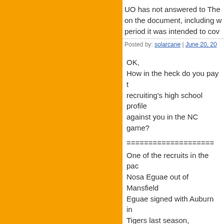UO has not answered to The on the document, including w period it was intended to cov
Posted by: solarcane | June 20, 20
[Figure (logo): Blue and white fan/wave pattern avatar icon]
OK, How in the heck do you pay t recruiting's high school profile against you in the NC game?
====================
One of the recruits in the pac Nosa Eguae out of Mansfield Eguae signed with Auburn in Tigers last season, including against Oregon. He had four
Posted by: solarcane | June 20, 20
[Figure (logo): Blue and white fan/wave pattern avatar icon]
Max Preps pre season high S
No. 17 Dunn (Palm Beach C